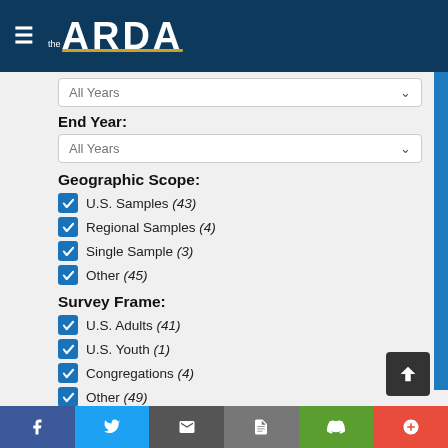[Figure (screenshot): The ARDA website header with hamburger menu icon and ARDA logo in white on dark blue background]
All Years (dropdown)
End Year:
All Years (dropdown)
Geographic Scope:
U.S. Samples (43)
Regional Samples (4)
Single Sample (3)
Other (45)
Survey Frame:
U.S. Adults (41)
U.S. Youth (1)
Congregations (4)
Other (49)
Sample Type:
Random Samples (91)
Unknown Sample Types (4)